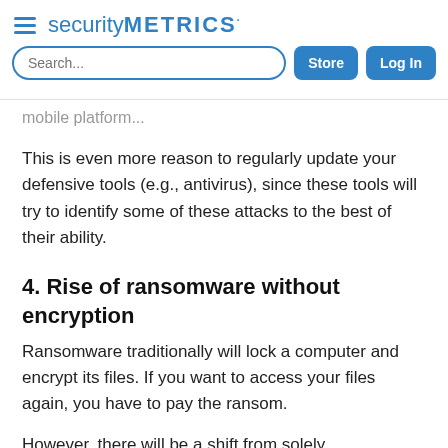securityMETRICS
mobile platform...
This is even more reason to regularly update your defensive tools (e.g., antivirus), since these tools will try to identify some of these attacks to the best of their ability.
4. Rise of ransomware without encryption
Ransomware traditionally will lock a computer and encrypt its files. If you want to access your files again, you have to pay the ransom.
However, there will be a shift from solely